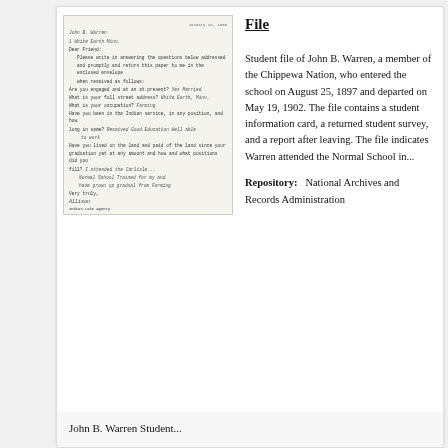[Figure (photo): Scanned historical document letter with typed and handwritten text, dated around 1897-1902, showing correspondence related to John B. Warren student file]
File
Student file of John B. Warren, a member of the Chippewa Nation, who entered the school on August 25, 1897 and departed on May 19, 1902. The file contains a student information card, a returned student survey, and a report after leaving. The file indicates Warren attended the Normal School in...
Repository:   National Archives and Records Administration
John B. Warren Student...